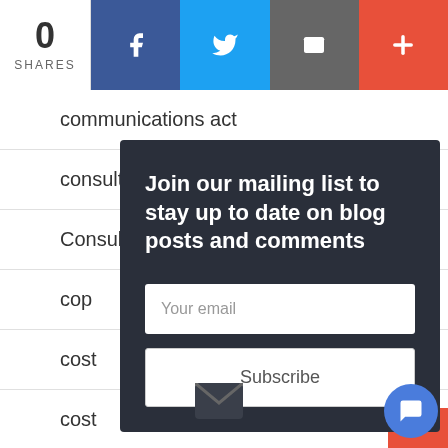[Figure (screenshot): Social share bar with 0 shares count, Facebook, Twitter, email, and plus buttons]
communications act
consultant
Consulting
cop
cost
cost
Cost
cou
Join our mailing list to stay up to date on blog posts and comments
Your email
Subscribe